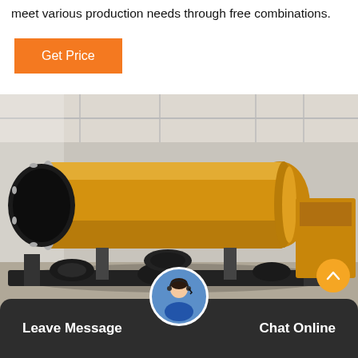meet various production needs through free combinations.
[Figure (other): Orange button labeled 'Get Price']
[Figure (photo): Large industrial ball mill machine painted yellow/gold, mounted on a black steel frame inside a factory warehouse. The cylindrical drum is prominent with a dark circular opening on the left end.]
Leave Message   Chat Online
stone crusherforcalcin konveyoraliment uod